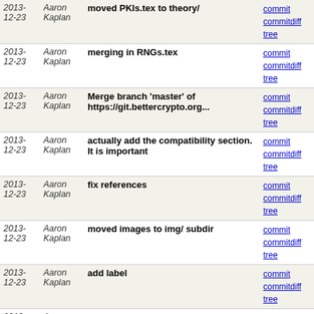| Date | Author | Message | Links |
| --- | --- | --- | --- |
| 2013-12-23 | Aaron Kaplan | moved PKIs.tex to theory/ | commit | commitdiff | tree |
| 2013-12-23 | Aaron Kaplan | merging in RNGs.tex | commit | commitdiff | tree |
| 2013-12-23 | Aaron Kaplan | Merge branch 'master' of https://git.bettercrypto.org... | commit | commitdiff | tree |
| 2013-12-23 | Aaron Kaplan | actually add the compatibility section. It is important | commit | commitdiff | tree |
| 2013-12-23 | Aaron Kaplan | fix references | commit | commitdiff | tree |
| 2013-12-23 | Aaron Kaplan | moved images to img/ subdir | commit | commitdiff | tree |
| 2013-12-23 | Aaron Kaplan | add label | commit | commitdiff | tree |
| 2013-12-23 | Aaron Kaplan | @@@CIPHERSUITEB@@@ macro | commit | commitdiff | tree |
| 2013-12-23 | Aaron Kaplan | write the @@@CIPHERSTRINGB@@@ macro here | commit | commitdiff | tree |
| 2013-12-23 | Aaron Kaplan | fixed one todo, thanks to Florian Mendels' section | commit | commitdiff | tree |
| 2013-12-23 | Aaron Kaplan | move things into the theory/ subdir | commit | commitdiff | tree |
| 2013-12-23 | Aaron Kaplan | move theory sections into theory subdir | commit | commitdiff | tree |
| 2013-12-23 | Aaron Kaplan | move .tex files into the theory subdirectory | commit | commitdiff | tree |